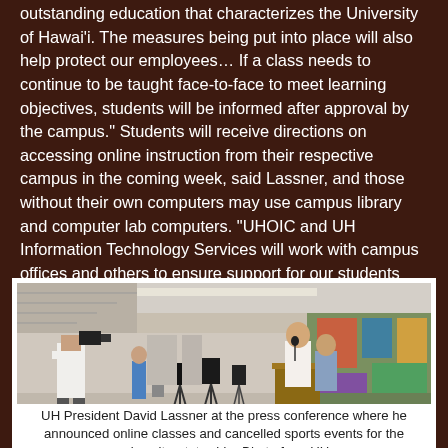outstanding education that characterizes the University of Hawai'i. The measures being put into place will also help protect our employees… If a class needs to continue to be taught face-to-face to meet learning objectives, students will be informed after approval by the campus." Students will receive directions on accessing online instruction from their respective campus in the coming week, said Lassner, and those without their own computers may use campus library and computer lab computers. "UHOIC and UH Information Technology Services will work with campus offices and others to ensure support for our students and faculty with particular needs."
[Figure (photo): UH President David Lassner at a press conference podium with media cameras and crew in a university building interior.]
UH President David Lassner at the press conference where he announced online classes and cancelled sports events for the university, statewide. Photo from UH.